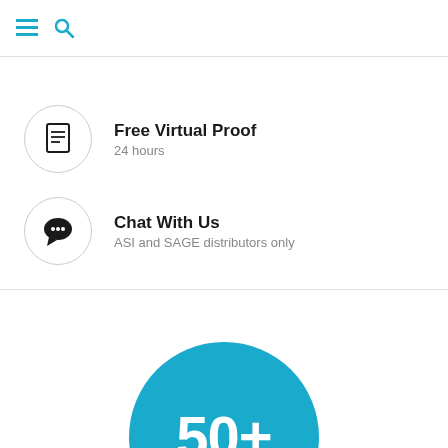☰ 🔍
[Figure (illustration): Circle icon with document/proof symbol representing Free Virtual Proof feature]
Free Virtual Proof
24 hours
[Figure (illustration): Circle icon with chat bubble symbol representing Chat With Us feature]
Chat With Us
ASI and SAGE distributors only
[Figure (illustration): Large blue circle with '50+' text in white]